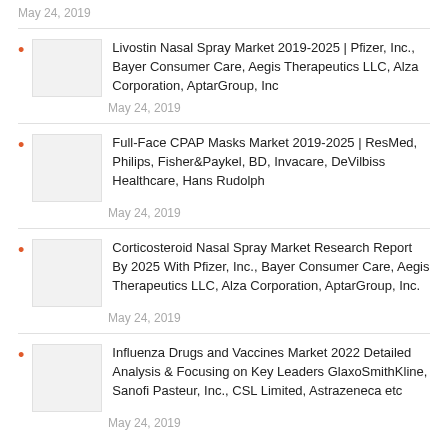May 24, 2019
Livostin Nasal Spray Market 2019-2025 | Pfizer, Inc., Bayer Consumer Care, Aegis Therapeutics LLC, Alza Corporation, AptarGroup, Inc
May 24, 2019
Full-Face CPAP Masks Market 2019-2025 | ResMed, Philips, Fisher&Paykel, BD, Invacare, DeVilbiss Healthcare, Hans Rudolph
May 24, 2019
Corticosteroid Nasal Spray Market Research Report By 2025 With Pfizer, Inc., Bayer Consumer Care, Aegis Therapeutics LLC, Alza Corporation, AptarGroup, Inc.
May 24, 2019
Influenza Drugs and Vaccines Market 2022 Detailed Analysis & Focusing on Key Leaders GlaxoSmithKline, Sanofi Pasteur, Inc., CSL Limited, Astrazeneca etc
May 24, 2019